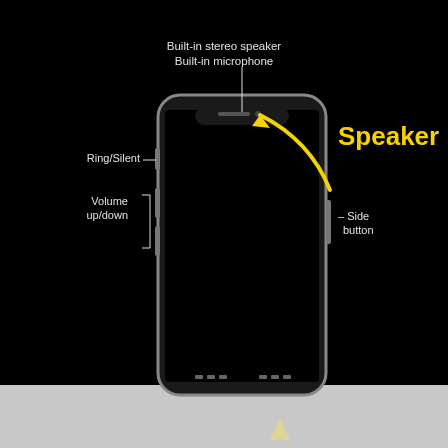[Figure (illustration): Diagram of an iPhone showing labeled hardware components: Built-in stereo speaker, Built-in microphone (top), Ring/Silent switch (upper left), Volume up/down buttons (left side), Side button (right side). A yellow arrow with 'Speaker 1' label points to the top speaker/microphone area. The phone is shown against a black background with a gray area at the bottom.]